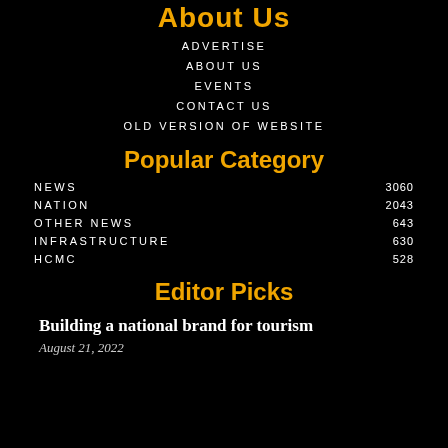About Us
ADVERTISE
ABOUT US
EVENTS
CONTACT US
OLD VERSION OF WEBSITE
Popular Category
NEWS  3060
NATION  2043
OTHER NEWS  643
INFRASTRUCTURE  630
HCMC  528
Editor Picks
Building a national brand for tourism
August 21, 2022